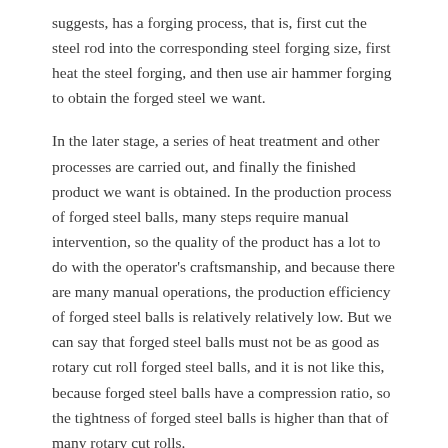suggests, has a forging process, that is, first cut the steel rod into the corresponding steel forging size, first heat the steel forging, and then use air hammer forging to obtain the forged steel we want.
In the later stage, a series of heat treatment and other processes are carried out, and finally the finished product we want is obtained. In the production process of forged steel balls, many steps require manual intervention, so the quality of the product has a lot to do with the operator's craftsmanship, and because there are many manual operations, the production efficiency of forged steel balls is relatively relatively low. But we can say that forged steel balls must not be as good as rotary cut roll forged steel balls, and it is not like this, because forged steel balls have a compression ratio, so the tightness of forged steel balls is higher than that of many rotary cut rolls.
Forged steel balls are better, but in general, ordinary rotary cut roll forged steel balls can fully meet the needs of customers. We think that forged steel balls with a diameter of 120 or more are better to use forged steel balls, and the grinding performance is better. The